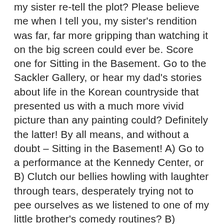my sister re-tell the plot? Please believe me when I tell you, my sister's rendition was far, far more gripping than watching it on the big screen could ever be. Score one for Sitting in the Basement. Go to the Sackler Gallery, or hear my dad's stories about life in the Korean countryside that presented us with a much more vivid picture than any painting could? Definitely the latter! By all means, and without a doubt – Sitting in the Basement! A) Go to a performance at the Kennedy Center, or B) Clutch our bellies howling with laughter through tears, desperately trying not to pee ourselves as we listened to one of my little brother's comedy routines? B) Always, always B! Sitting in the Basement for the win! Go out to eat at a restaurant, or eat my mom's Korean food laced with vegetables yanked out of the backyard only moments before? Hello?! Do I even have to say it? Every holiday my poor, long-suffering brother-in-law would helplessly watch his dreams of exploring Great Falls Park, hitting the